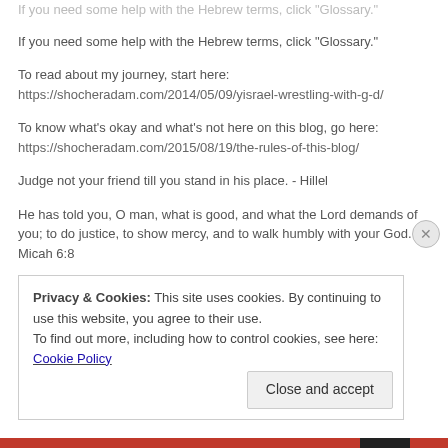If you need some help with the Hebrew terms, click "Glossary."
If you need some help with the Hebrew terms, click "Glossary."
To read about my journey, start here:
https://shocheradam.com/2014/05/09/yisrael-wrestling-with-g-d/
To know what's okay and what's not here on this blog, go here:
https://shocheradam.com/2015/08/19/the-rules-of-this-blog/
Judge not your friend till you stand in his place. - Hillel
He has told you, O man, what is good, and what the Lord demands of you; to do justice, to show mercy, and to walk humbly with your God. - Micah 6:8
Privacy & Cookies: This site uses cookies. By continuing to use this website, you agree to their use.
To find out more, including how to control cookies, see here: Cookie Policy